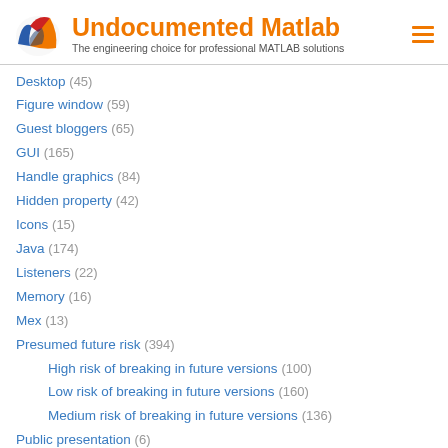Undocumented Matlab — The engineering choice for professional MATLAB solutions
Desktop (45)
Figure window (59)
Guest bloggers (65)
GUI (165)
Handle graphics (84)
Hidden property (42)
Icons (15)
Java (174)
Listeners (22)
Memory (16)
Mex (13)
Presumed future risk (394)
High risk of breaking in future versions (100)
Low risk of breaking in future versions (160)
Medium risk of breaking in future versions (136)
Public presentation (6)
Semi-documented feature (10)
Semi-documented function (35)
Stock Matlab function (140)
Toolbox (15)